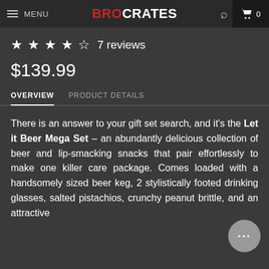MENU | BROCRATES | 0
★★★★½ 7 reviews
$139.99
OVERVIEW   PRODUCT DETAILS
There is an answer to your gift set search, and it's the Let it Beer Mega Set – an abundantly delicious collection of beer and lip-smacking snacks that pair effortlessly to make one killer care package. Comes loaded with a handsomely sized beer keg, 2 stylistically footed drinking glasses, salted pistachios, crunchy peanut brittle, and an attractive